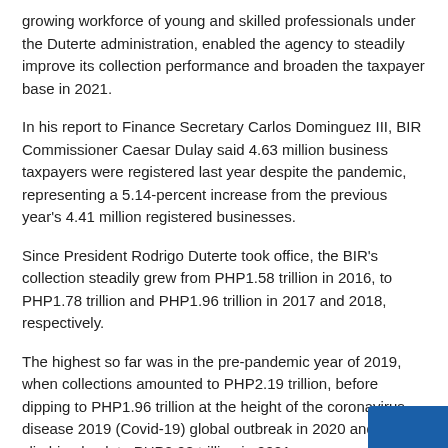growing workforce of young and skilled professionals under the Duterte administration, enabled the agency to steadily improve its collection performance and broaden the taxpayer base in 2021.
In his report to Finance Secretary Carlos Dominguez III, BIR Commissioner Caesar Dulay said 4.63 million business taxpayers were registered last year despite the pandemic, representing a 5.14-percent increase from the previous year's 4.41 million registered businesses.
Since President Rodrigo Duterte took office, the BIR's collection steadily grew from PHP1.58 trillion in 2016, to PHP1.78 trillion and PHP1.96 trillion in 2017 and 2018, respectively.
The highest so far was in the pre-pandemic year of 2019, when collections amounted to PHP2.19 trillion, before dipping to PHP1.96 trillion at the height of the coronavirus disease 2019 (Covid-19) global outbreak in 2020 and climbing back to PHP2.08 trillion in 2021.
Dulay said since the tax amnesty law took effect in 2018, the BIR was able to collect a total of PHP13.8 billion from 85,556 taxpayers that